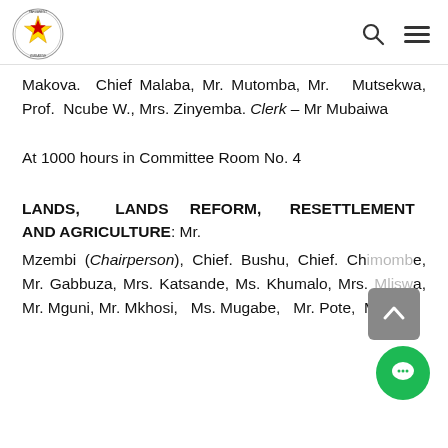Parliament of Zimbabwe logo with search and menu icons
Makova.  Chief Malaba, Mr. Mutomba, Mr.  Mutsekwa, Prof.  Ncube W., Mrs. Zinyemba. Clerk – Mr Mubaiwa
At 1000 hours in Committee Room No. 4
LANDS,    LANDS   REFORM,   RESETTLEMENT   AND AGRICULTURE: Mr.
Mzembi (Chairperson), Chief. Bushu, Chief. Chimombe, Mr. Gabbuza, Mrs. Katsande, Ms. Khumalo, Mrs. Mliswa, Mr. Mguni, Mr. Mkhosi,  Ms. Mugabe,   Mr. Pote,  Mr.